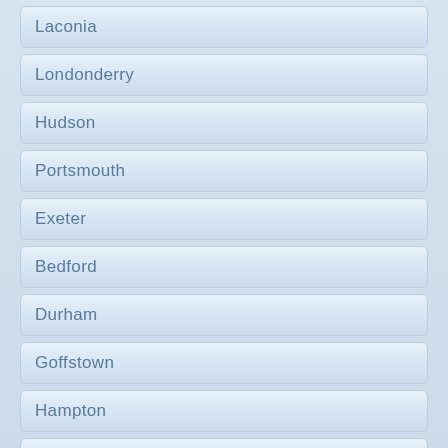Laconia
Londonderry
Hudson
Portsmouth
Exeter
Bedford
Durham
Goffstown
Hampton
Claremont
Milford
Suncook
Hooksett
Somersworth